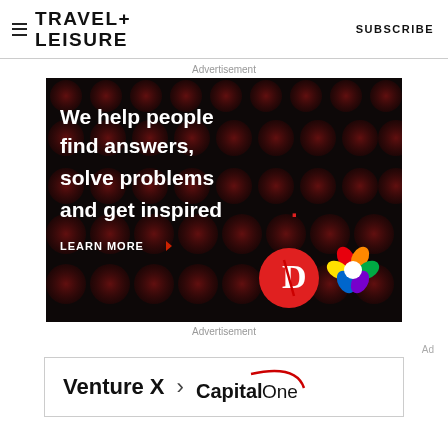TRAVEL+ LEISURE   SUBSCRIBE
Advertisement
[Figure (illustration): Dark background advertisement with polka dot pattern. Text reads: 'We help people find answers, solve problems and get inspired.' with a red period. 'LEARN MORE' with arrow. Shows Dotdash logo (red circle with D) and another colorful logo.]
Advertisement
Ad
[Figure (illustration): Capital One Venture X advertisement banner. Text: 'Venture X > CapitalOne' with Capital One logo styling.]